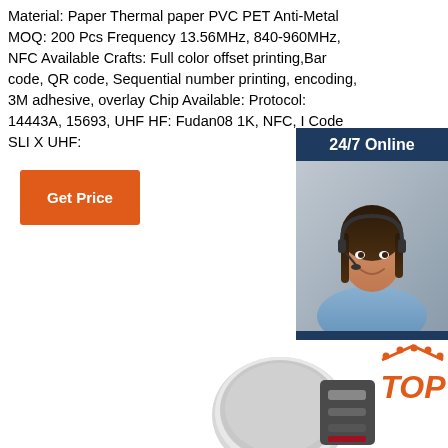Material: Paper Thermal paper PVC PET Anti-Metal MOQ: 200 Pcs Frequency 13.56MHz, 840-960MHz, NFC Available Crafts: Full color offset printing,Bar code, QR code, Sequential number printing, encoding, 3M adhesive, overlay Chip Available: Protocol: 14443A, 15693, UHF HF: Fudan08 1K, NFC, I Code SLI X UHF:
[Figure (other): Get Price orange button]
[Figure (other): 24/7 Online chat widget with photo of customer service representative, 'Click here for free chat!' text and QUOTATION orange button]
[Figure (photo): Product photo showing a circular device with strap and a TOP badge with orange dots in the bottom right area]